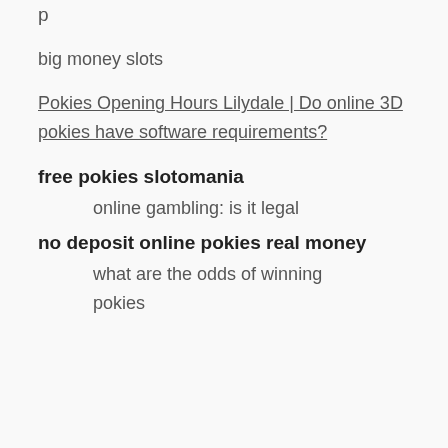p
big money slots
Pokies Opening Hours Lilydale | Do online 3D pokies have software requirements?
free pokies slotomania
online gambling: is it legal
no deposit online pokies real money
what are the odds of winning pokies